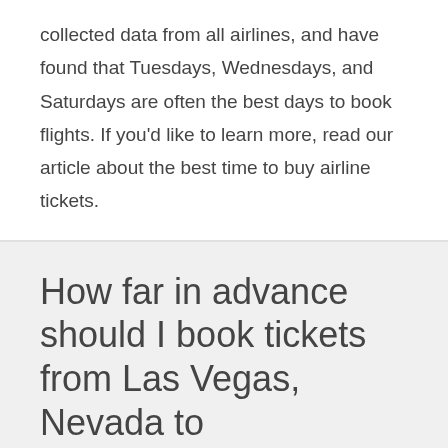collected data from all airlines, and have found that Tuesdays, Wednesdays, and Saturdays are often the best days to book flights. If you'd like to learn more, read our article about the best time to buy airline tickets.
How far in advance should I book tickets from Las Vegas, Nevada to Shreveport?
The chart below shows up-to-date information regarding how far in advance to book your flight from